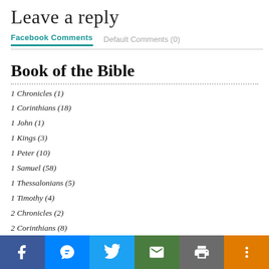Leave a reply
Facebook Comments	Default Comments (0)
Book of the Bible
1 Chronicles (1)
1 Corinthians (18)
1 John (1)
1 Kings (3)
1 Peter (10)
1 Samuel (58)
1 Thessalonians (5)
1 Timothy (4)
2 Chronicles (2)
2 Corinthians (8)